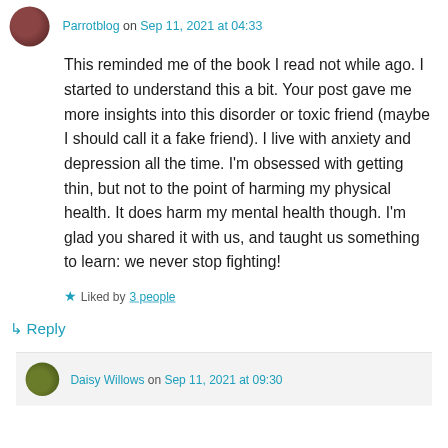Parrotblog on Sep 11, 2021 at 04:33
This reminded me of the book I read not while ago. I started to understand this a bit. Your post gave me more insights into this disorder or toxic friend (maybe I should call it a fake friend). I live with anxiety and depression all the time. I’m obsessed with getting thin, but not to the point of harming my physical health. It does harm my mental health though. I’m glad you shared it with us, and taught us something to learn: we never stop fighting!
Liked by 3 people
↳ Reply
Daisy Willows on Sep 11, 2021 at 09:30